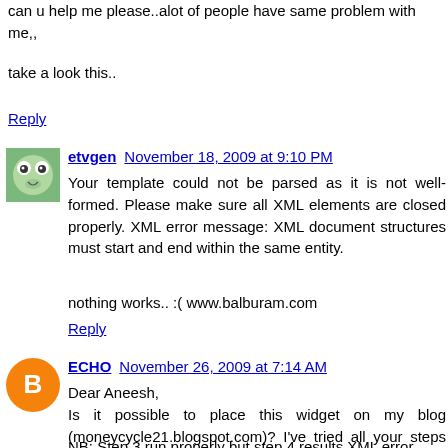can u help me please..alot of people have same problem with me,,
take a look this..
Reply
[Figure (photo): Avatar icon for etvgen user - cartoon frog face on green background]
etvgen  November 18, 2009 at 9:10 PM
Your template could not be parsed as it is not well-formed. Please make sure all XML elements are closed properly. XML error message: XML document structures must start and end within the same entity.

nothing works.. :( www.balburam.com
Reply
[Figure (logo): Orange circle avatar with white B letter for ECHO user]
ECHO  November 26, 2009 at 7:14 AM
Dear Aneesh,
Is it possible to place this widget on my blog (moneycycle21.blogspot.com)? I've tried all your steps correctly with no result (including delete 'display:none;' on #blog-pager { ). Please, help me. Thank you in advance.
NB: Step 3 run properly but step 4 results XML error